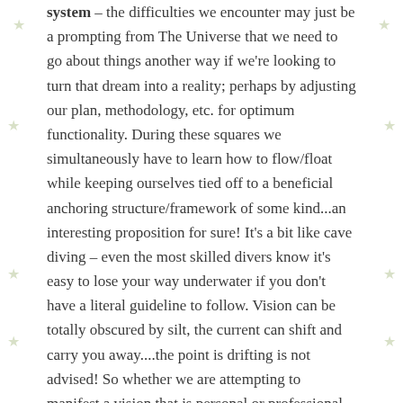system – the difficulties we encounter may just be a prompting from The Universe that we need to go about things another way if we're looking to turn that dream into a reality; perhaps by adjusting our plan, methodology, etc. for optimum functionality. During these squares we simultaneously have to learn how to flow/float while keeping ourselves tied off to a beneficial anchoring structure/framework of some kind...an interesting proposition for sure! It's a bit like cave diving – even the most skilled divers know it's easy to lose your way underwater if you don't have a literal guideline to follow. Vision can be totally obscured by silt, the current can shift and carry you away....the point is drifting is not advised! So whether we are attempting to manifest a vision that is personal or professional